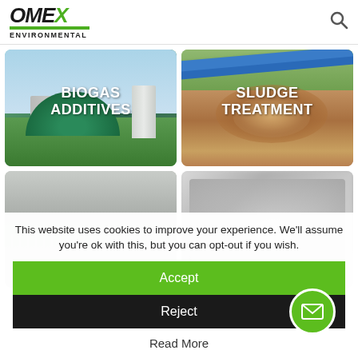OMEX ENVIRONMENTAL
[Figure (photo): BIOGAS ADDITIVES card - photo of biogas dome facility]
[Figure (photo): SLUDGE TREATMENT card - photo of sludge treatment with blue pipe]
[Figure (photo): Water treatment facility photo - bottom left]
[Figure (photo): Blurred grayscale photo - bottom right]
This website uses cookies to improve your experience. We'll assume you're ok with this, but you can opt-out if you wish.
Accept
Reject
Read More